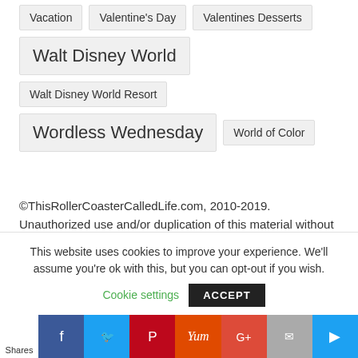Vacation
Valentine's Day
Valentines Desserts
Walt Disney World
Walt Disney World Resort
Wordless Wednesday
World of Color
©ThisRollerCoasterCalledLife.com, 2010-2019. Unauthorized use and/or duplication of this material without express and written permission from this blog's author and/or owner is strictly prohibited.
This website uses cookies to improve your experience. We'll assume you're ok with this, but you can opt-out if you wish.
Cookie settings
ACCEPT
Shares